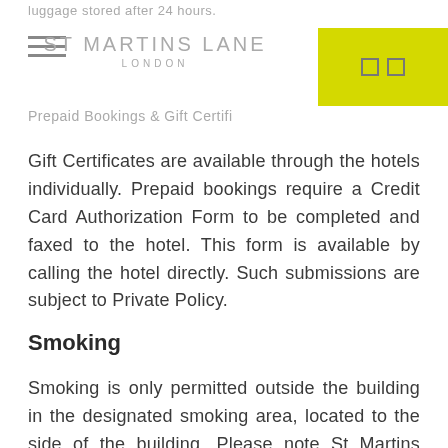luggage stored after 24 hours.
ST MARTINS LANE LONDON
Prepaid Bookings & Gift Certifi...
Gift Certificates are available through the hotels individually. Prepaid bookings require a Credit Card Authorization Form to be completed and faxed to the hotel. This form is available by calling the hotel directly. Such submissions are subject to Private Policy.
Smoking
Smoking is only permitted outside the building in the designated smoking area, located to the side of the building. Please note St Martins Lane London is a non-